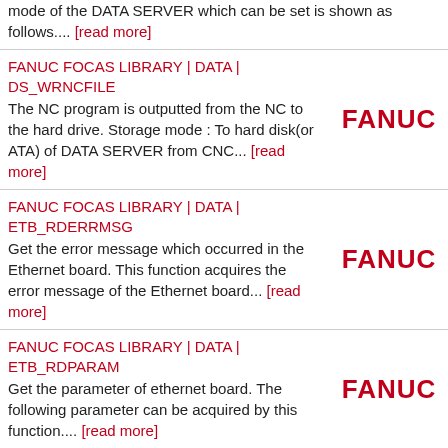mode of the DATA SERVER which can be set is shown as follows.... [read more]
FANUC FOCAS LIBRARY | DATA | DS_WRNCFILE
The NC program is outputted from the NC to the hard drive. Storage mode : To hard disk(or ATA) of DATA SERVER from CNC... [read more]
[Figure (logo): FANUC logo in red bold text]
FANUC FOCAS LIBRARY | DATA | ETB_RDERRMSG
Get the error message which occurred in the Ethernet board. This function acquires the error message of the Ethernet board... [read more]
[Figure (logo): FANUC logo in red bold text]
FANUC FOCAS LIBRARY | DATA | ETB_RDPARAM
Get the parameter of ethernet board. The following parameter can be acquired by this function.... [read more]
[Figure (logo): FANUC logo in red bold text]